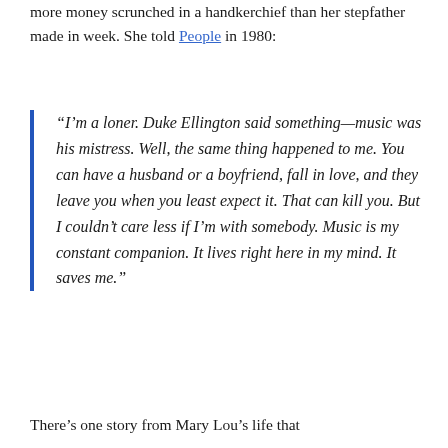more money scrunched in a handkerchief than her stepfather made in week. She told People in 1980:
“I’m a loner. Duke Ellington said something—music was his mistress. Well, the same thing happened to me. You can have a husband or a boyfriend, fall in love, and they leave you when you least expect it. That can kill you. But I couldn’t care less if I’m with somebody. Music is my constant companion. It lives right here in my mind. It saves me.”
There’s one story from Mary Lou’s life that